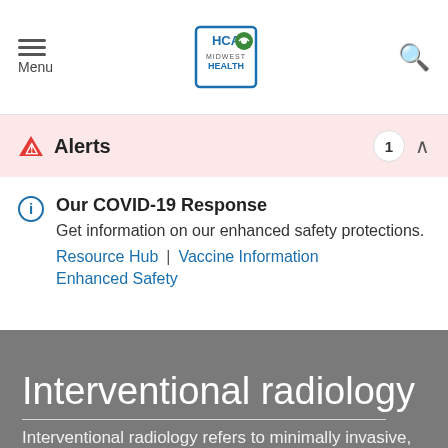Menu | HCA Midwest Health | Search
Alerts 1
Our COVID-19 Response
Get information on our enhanced safety protections.
Resource Hub | Vaccine Information
Enhanced Safety
Interventional radiology
Interventional radiology refers to minimally invasive,